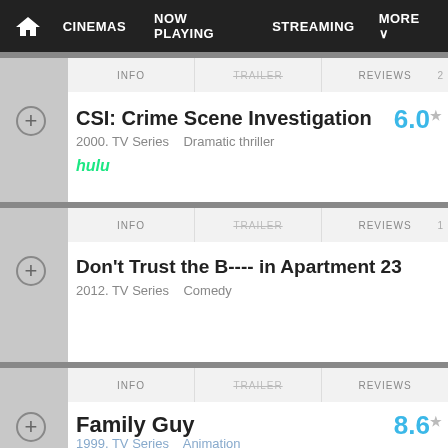CINEMAS  NOW PLAYING  STREAMING  MORE
INFO  TRAILER  REVIEWS  2
CSI: Crime Scene Investigation
6.0
2000. TV Series   Dramatic thriller
hulu
INFO  TRAILER  REVIEWS  1
Don't Trust the B---- in Apartment 23
2012. TV Series   Comedy
INFO  TRAILER  REVIEWS
Family Guy
8.6
1999. TV Series   Animation
Disney+ hulu